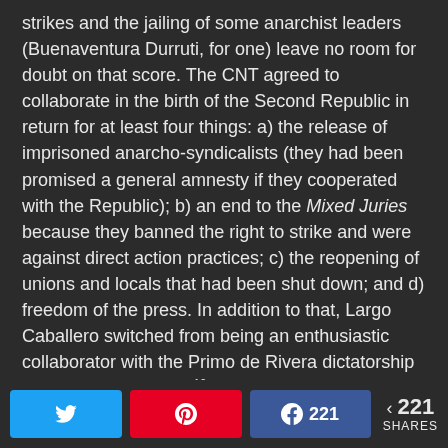strikes and the jailing of some anarchist leaders (Buenaventura Durruti, for one) leave no room for doubt on that score. The CNT agreed to collaborate in the birth of the Second Republic in return for at least four things: a) the release of imprisoned anarcho-syndicalists (they had been promised a general amnesty if they cooperated with the Republic); b) an end to the Mixed Juries because they banned the right to strike and were against direct action practices; c) the reopening of unions and locals that had been shut down; and d) freedom of the press. In addition to that, Largo Caballero switched from being an enthusiastic collaborator with the Primo de Rivera dictatorship as leader of the UGT 16 to championing by February 1936 a proletarian revolution during his term as president of the council of ministers of the Republic (prime minister
Twitter share | Pinterest share | Facebook share 221 | < 221 SHARES